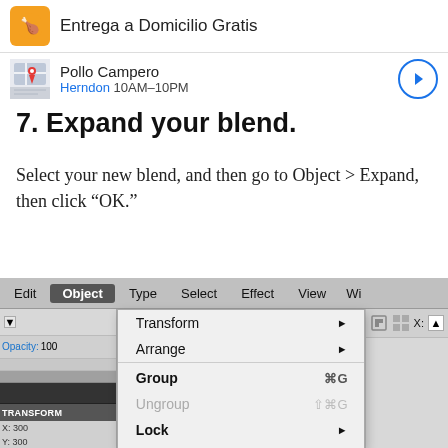[Figure (screenshot): Ad banner showing food delivery and Pollo Campero restaurant listing with map thumbnail and navigation arrow]
7. Expand your blend.
Select your new blend, and then go to Object > Expand, then click “OK.”
[Figure (screenshot): Adobe Illustrator menu bar screenshot showing Object menu expanded with options: Transform, Arrange, Group (Cmd+G), Ungroup (Shift+Cmd+G), Lock, Unlock All (Option+Cmd+2), Hide, Show All]